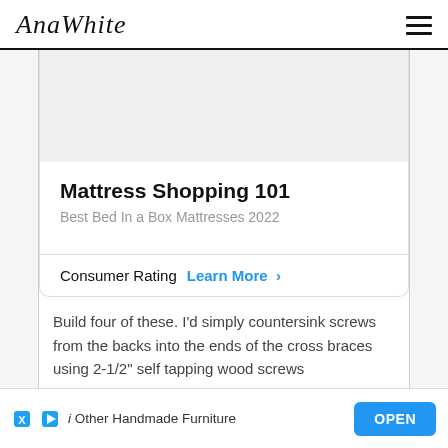AnaWhite
[Figure (infographic): Ad card with title 'Mattress Shopping 101', subtitle 'Best Bed In a Box Mattresses 2022', with a Consumer Rating label and 'Learn More >' link]
Build four of these. I'd simply countersink screws from the backs into the ends of the cross braces using 2-1/2" self tapping wood screws
[Figure (infographic): Bottom advertisement bar: 'i Other Handmade Furniture' with X and play icons, and an 'OPEN' blue button]